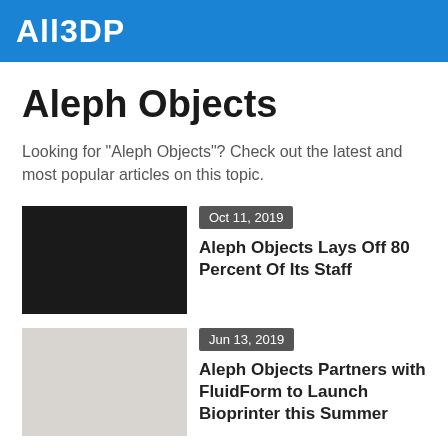All3DP
Aleph Objects
Looking for "Aleph Objects"? Check out the latest and most popular articles on this topic.
[Figure (photo): Dark/black thumbnail image for article]
Oct 11, 2019
Aleph Objects Lays Off 80 Percent Of Its Staff
[Figure (photo): Light gray thumbnail image for article]
Jun 13, 2019
Aleph Objects Partners with FluidForm to Launch Bioprinter this Summer